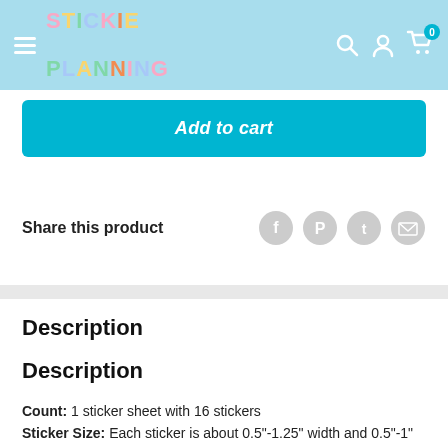[Figure (screenshot): Stickie Planning website header with light blue background, hamburger menu, colorful logo, search icon, account icon, and cart icon with 0 badge]
Add to cart
Share this product
Description
Description
Count: 1 sticker sheet with 16 stickers
Sticker Size: Each sticker is about 0.5"-1.25" width and 0.5"-1" height